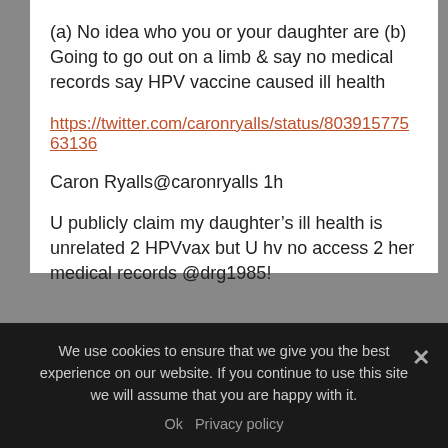(a) No idea who you or your daughter are (b) Going to go out on a limb & say no medical records say HPV vaccine caused ill health
https://twitter.com/caronryalls/status/80391577563136
Caron Ryalls@caronryalls 1h
U publicly claim my daughter’s ill health is unrelated 2 HPVvax but U hv no access 2 her medical records @drg1985!
We use cookies to ensure that we give you the best experience on our website. If you continue to use this site we will assume that you are happy with it.
Ok  Privacy policy